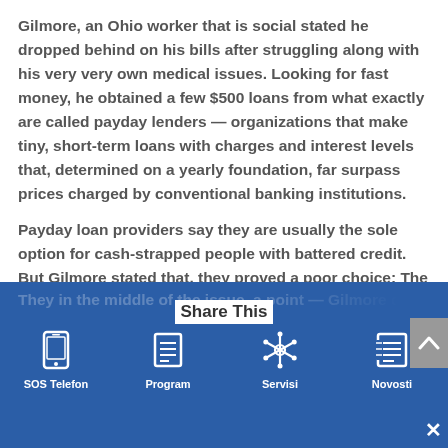Gilmore, an Ohio worker that is social stated he dropped behind on his bills after struggling along with his very very own medical issues. Looking for fast money, he obtained a few $500 loans from what exactly are called payday lenders — organizations that make tiny, short-term loans with charges and interest levels that, determined on a yearly foundation, far surpass prices charged by conventional banking institutions.
Payday loan providers say they are usually the sole option for cash-strapped people with battered credit. But Gilmore stated that, they proved a poor choice: The stress of trying to pay off some $7,000 in loans, he said, made him nearly suicidal for him.
They in the middle of the issue, a point — Gilmore d...
SOS Telefon   Program   Share This   Servisi   Novosti